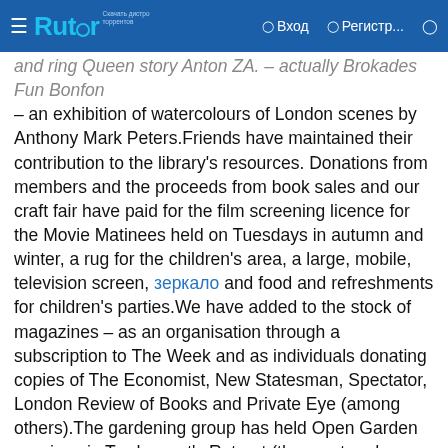Rutor — Вход — Регистр...
— an exhibition of watercolours of London scenes by Anthony Mark Peters.Friends have maintained their contribution to the library's resources. Donations from members and the proceeds from book sales and our craft fair have paid for the film screening licence for the Movie Matinees held on Tuesdays in autumn and winter, a rug for the children's area, a large, mobile, television screen, зеркало and food and refreshments for children's parties.We have added to the stock of magazines – as an organisation through a subscription to The Week and as individuals donating copies of The Economist, New Statesman, Spectator, London Review of Books and Private Eye (among others).The gardening group has held Open Garden sessions in Tradescant's Retreat (the courtyard garden at the rear of the library) on the second Saturday of each month during the summer period. People could sit down (sheltered by a gazebo), read, meet the volunteers who tend the garden and share seeds.Meanwhile, in the hope of influencing the shape and direction of overall library policy and specifically how it affects our library, two members of the committee of Friends of Tate